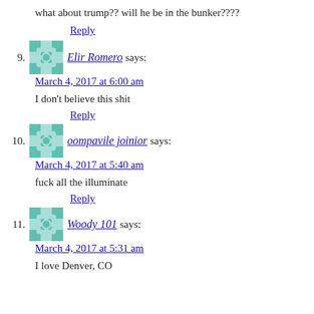what about trump?? will he be in the bunker????
Reply
Elir Romero says:
March 4, 2017 at 6:00 am
I don't believe this shit
Reply
oompavile joinior says:
March 4, 2017 at 5:40 am
fuck all the illuminate
Reply
Woody 101 says:
March 4, 2017 at 5:31 am
I love Denver, CO